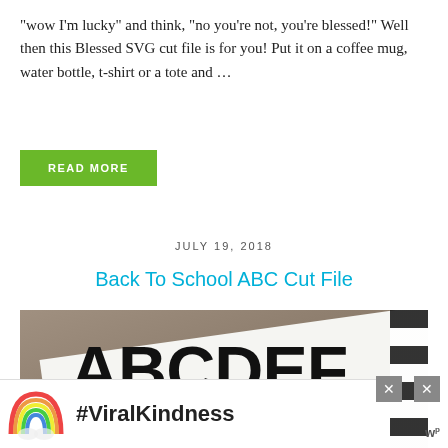“wow I’m lucky” and think, “no you’re not, you’re blessed!” Well then this Blessed SVG cut file is for you! Put it on a coffee mug, water bottle, t-shirt or a tote and …
READ MORE
JULY 19, 2018
Back To School ABC Cut File
[Figure (photo): Photo of a white paper with large bold letters ABCDEF GHIJK printed on it, placed on a wooden/gray surface with a black-and-white striped pencil on the right side.]
[Figure (infographic): Advertisement banner with rainbow illustration and #ViralKindness text in bold.]